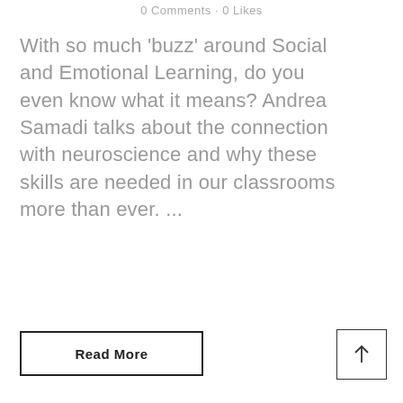0 Comments · 0 Likes
With so much 'buzz' around Social and Emotional Learning, do you even know what it means? Andrea Samadi talks about the connection with neuroscience and why these skills are needed in our classrooms more than ever. ...
Read More
[Figure (other): Up arrow button in a square border]